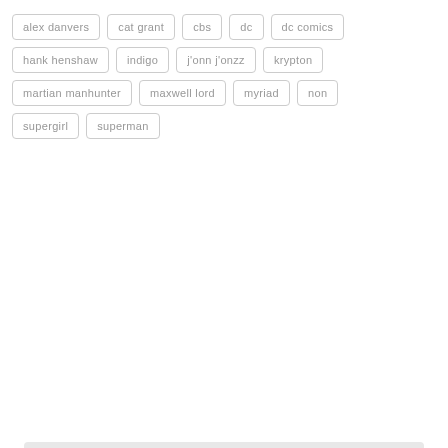alex danvers
cat grant
cbs
dc
dc comics
hank henshaw
indigo
j'onn j'onzz
krypton
martian manhunter
maxwell lord
myriad
non
supergirl
superman
SHARE ON:
[Figure (infographic): Social share buttons: Facebook Share 0, Facebook Like 0, Pinterest Save, Twitter Tweet]